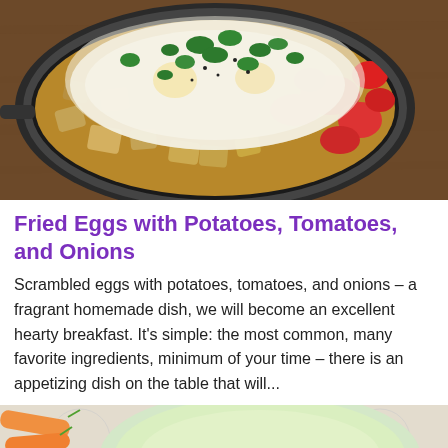[Figure (photo): Overhead close-up photo of a skillet with fried eggs, roasted potato chunks, red tomatoes, and fresh green parsley garnish on a wooden table background.]
Fried Eggs with Potatoes, Tomatoes, and Onions
Scrambled eggs with potatoes, tomatoes, and onions – a fragrant homemade dish, we will become an excellent hearty breakfast. It's simple: the most common, many favorite ingredients, minimum of your time – there is an appetizing dish on the table that will...
[Figure (photo): Partial bottom photo showing a bowl of light green or cream-colored soup or drink, with orange carrots visible on a patterned cloth or doily surface.]